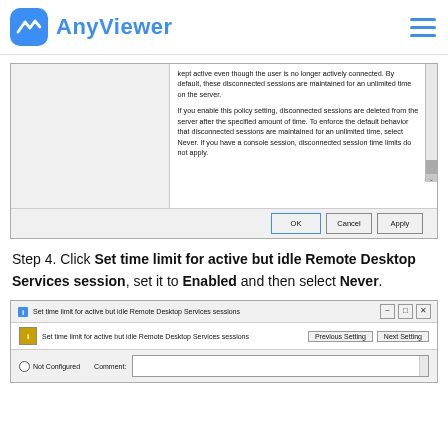AnyViewer
[Figure (screenshot): Windows policy dialog showing disconnected session settings text with OK, Cancel, and Apply buttons]
Step 4. Click Set time limit for active but idle Remote Desktop Services session, set it to Enabled and then select Never.
[Figure (screenshot): Set time limit for active but idle Remote Desktop Services sessions dialog window with Previous Setting, Next Setting buttons and Not Configured option with Comment field]